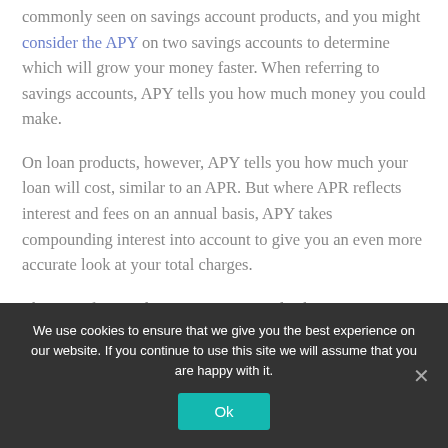commonly seen on savings account products, and you might consider the APY on two savings accounts to determine which will grow your money faster. When referring to savings accounts, APY tells you how much money you could make.
On loan products, however, APY tells you how much your loan will cost, similar to an APR. But where APR reflects interest and fees on an annual basis, APY takes compounding interest into account to give you an even more accurate look at your total charges.
The more frequently interest compounds, the more
We use cookies to ensure that we give you the best experience on our website. If you continue to use this site we will assume that you are happy with it.